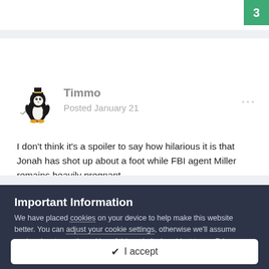3
Timmo
Posted January 21
I don't think it's a spoiler to say how hilarious it is that Jonah has shot up about a foot while FBI agent Miller remains heavily pregnant
Important Information
We have placed cookies on your device to help make this website better. You can adjust your cookie settings, otherwise we'll assume you're okay to continue. Use of this website is subject to our Privacy Policy, Terms of Use, and Guidelines.
✔  I accept